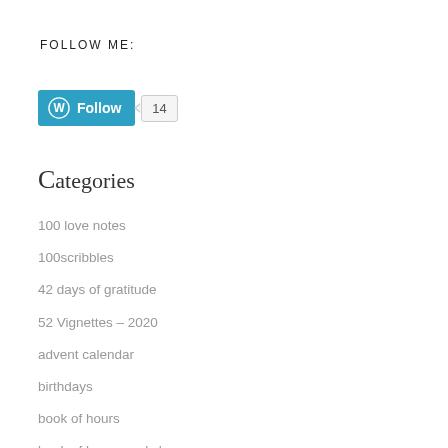FOLLOW ME:
[Figure (other): WordPress Follow button showing blue 'Follow' button with WordPress logo and a count badge showing 14]
Categories
100 love notes
100scribbles
42 days of gratitude
52 Vignettes – 2020
advent calendar
birthdays
book of hours
book of hours workshop
bruce mau prompts
daily acts of surrender
exercise